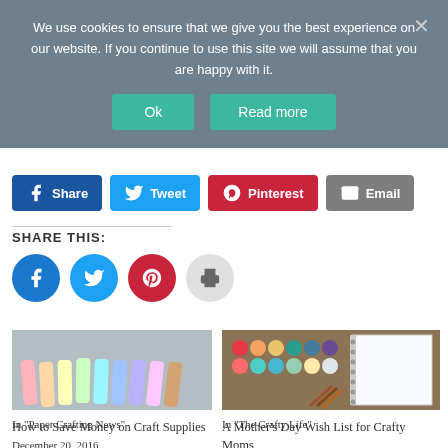We use cookies to ensure that we give you the best experience on our website. If you continue to use this site we will assume that you are happy with it.
Ok  Read more
Share  Tweet  Pinterest  Email
SHARE THIS:
[Figure (other): Social share circle buttons: Facebook, Twitter, Pinterest, Print]
[Figure (photo): Photo of colorful chalk sticks lined up on a gray background]
How to Save Money on Craft Supplies
December 20, 2016
In "Paper Crafting News"
[Figure (photo): Photo of watercolor paint palette, spiral notebook, and paintbrushes on a wooden surface]
A Mother's Day Wish List for Crafty Moms
May 2, 2017
In "The Crafty Life"